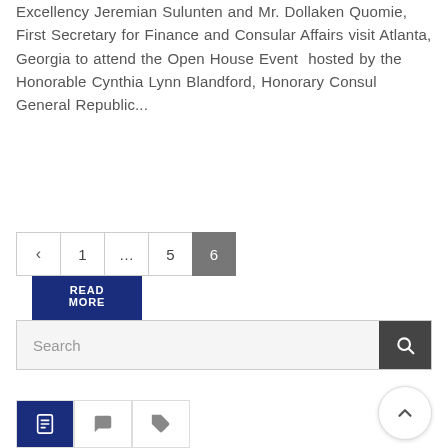Excellency Jeremian Sulunten and Mr. Dollaken Quomie, First Secretary for Finance and Consular Affairs visit Atlanta, Georgia to attend the Open House Event  hosted by the Honorable Cynthia Lynn Blandford, Honorary Consul General Republic...
READ MORE
← 1 … 5 6
Search